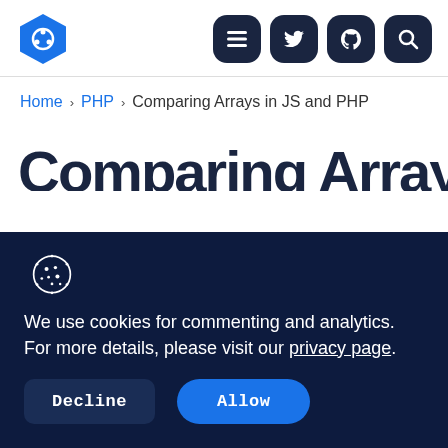Navigation header with logo and icons (menu, twitter, github, search)
Home > PHP > Comparing Arrays in JS and PHP
Comparing Arrays in
We use cookies for commenting and analytics. For more details, please visit our privacy page.